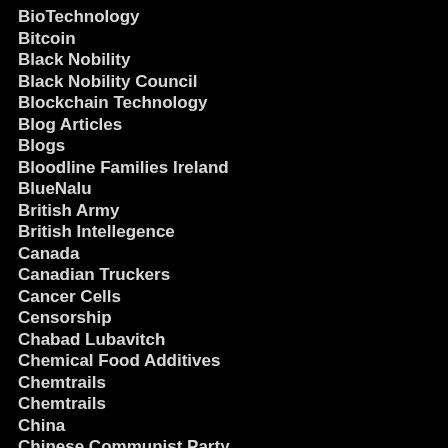BioTechnology
Bitcoin
Black Nobility
Black Nobility Council
Blockchain Technology
Blog Articles
Blogs
Bloodline Families Ireland
BlueNalu
British Army
British Intellegence
Canada
Canadian Truckers
Cancer Cells
Censorship
Chabad Lubavitch
Chemical Food Additives
Chemtrails
Chemtrails
China
Chinese Communist Party
Chinese Communist Party CCP
Christianity
CIA
CIA